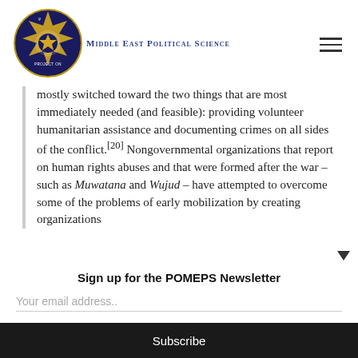[Figure (logo): Project on Middle East Political Science circular logo with geometric star pattern in dark navy/gold colors, with text 'MIDDLE EAST POLITICAL SCIENCE' in small caps]
mostly switched toward the two things that are most immediately needed (and feasible): providing volunteer humanitarian assistance and documenting crimes on all sides of the conflict.[20] Nongovernmental organizations that report on human rights abuses and that were formed after the war – such as Muwatana and Wujud – have attempted to overcome some of the problems of early mobilization by creating organizations
Sign up for the POMEPS Newsletter
Your email address..
Subscribe